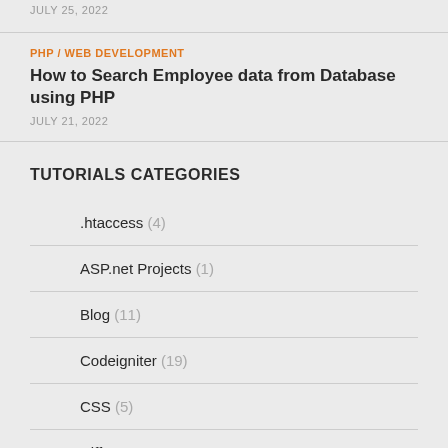JULY 25, 2022
PHP / WEB DEVELOPMENT
How to Search Employee data from Database using PHP
JULY 21, 2022
TUTORIALS CATEGORIES
.htaccess (4)
ASP.net Projects (1)
Blog (11)
Codeigniter (19)
CSS (5)
Diff... (7)